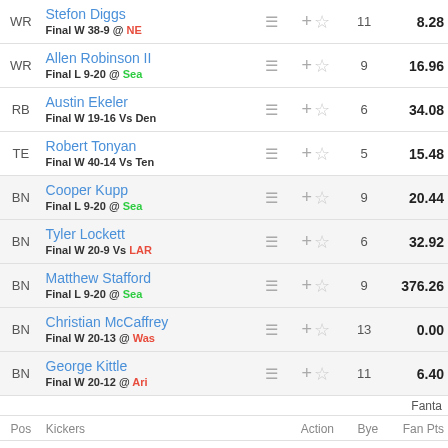| Pos | Player |  | Action | Bye | Fan Pts |
| --- | --- | --- | --- | --- | --- |
| WR | Allen Robinson II
Final L 9-20 @ Sea | ≡ | + ☆ | 9 | 16.96 |
| RB | Austin Ekeler
Final W 19-16 Vs Den | ≡ | + ☆ | 6 | 34.08 |
| TE | Robert Tonyan
Final W 40-14 Vs Ten | ≡ | + ☆ | 5 | 15.48 |
| BN | Cooper Kupp
Final L 9-20 @ Sea | ≡ | + ☆ | 9 | 20.44 |
| BN | Tyler Lockett
Final W 20-9 Vs LAR | ≡ | + ☆ | 6 | 32.92 |
| BN | Matthew Stafford
Final L 9-20 @ Sea | ≡ | + ☆ | 9 | 376.26 |
| BN | Christian McCaffrey
Final W 20-13 @ Was | ≡ | + ☆ | 13 | 0.00 |
| BN | George Kittle
Final W 20-12 @ Ari | ≡ | + ☆ | 11 | 6.40 |
Fanta
| Pos | Kickers | Action | Bye | Fan Pts |
| --- | --- | --- | --- | --- |